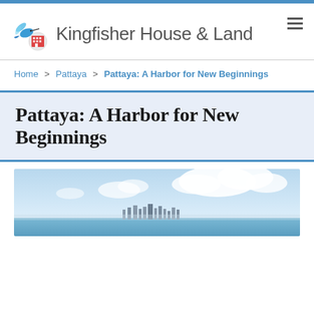[Figure (logo): Kingfisher House & Land logo with hummingbird and building icon]
Home > Pattaya > Pattaya: A Harbor for New Beginnings
Pattaya: A Harbor for New Beginnings
[Figure (photo): Aerial panoramic photo of Pattaya harbor and city skyline with blue sky and clouds]